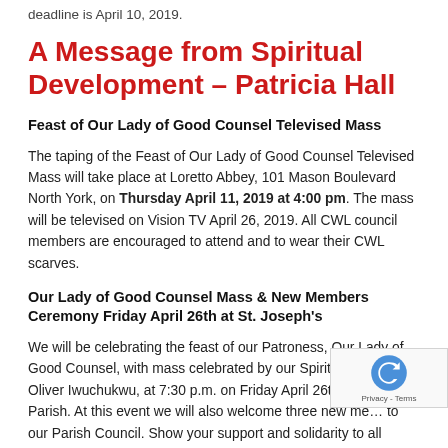deadline is April 10, 2019.
A Message from Spiritual Development – Patricia Hall
Feast of Our Lady of Good Counsel Televised Mass
The taping of the Feast of Our Lady of Good Counsel Televised Mass will take place at Loretto Abbey, 101 Mason Boulevard North York, on Thursday April 11, 2019 at 4:00 pm. The mass will be televised on Vision TV April 26, 2019. All CWL council members are encouraged to attend and to wear their CWL scarves.
Our Lady of Good Counsel Mass & New Members Ceremony Friday April 26th at St. Joseph's
We will be celebrating the feast of our Patroness, Our Lady of Good Counsel, with mass celebrated by our Spiritual Adv... Oliver Iwuchukwu, at 7:30 p.m. on Friday April 26th at St. Parish. At this event we will also welcome three new me... to our Parish Council. Show your support and solidarity to all